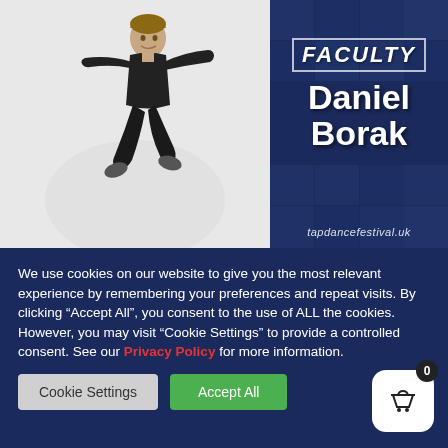[Figure (photo): Young male dancer in black outfit leaping/jumping against white background]
FACULTY
Daniel Borak
tapdancefestival.uk
We use cookies on our website to give you the most relevant experience by remembering your preferences and repeat visits. By clicking “Accept All”, you consent to the use of ALL the cookies. However, you may visit "Cookie Settings" to provide a controlled consent. See our Privacy Policy for more information.
Cookie Settings
Accept All